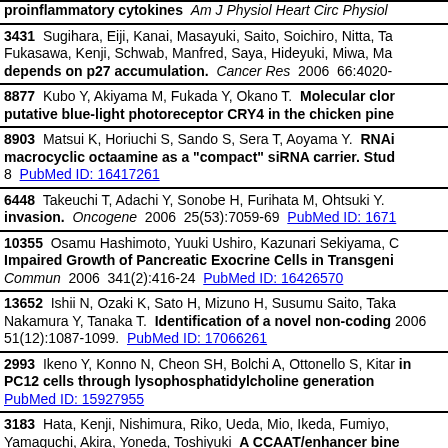proinflammatory cytokines Am J Physiol Heart Circ Physiol
3431 Sugihara, Eiji, Kanai, Masayuki, Saito, Soichiro, Nitta, Ta Fukasawa, Kenji, Schwab, Manfred, Saya, Hideyuki, Miwa, Ma depends on p27 accumulation. Cancer Res 2006 66:4020-
8877 Kubo Y, Akiyama M, Fukada Y, Okano T. Molecular clor putative blue-light photoreceptor CRY4 in the chicken pine
8903 Matsui K, Horiuchi S, Sando S, Sera T, Aoyama Y. RNAi macrocyclic octaamine as a "compact" siRNA carrier. Stud 8 PubMed ID: 16417261
6448 Takeuchi T, Adachi Y, Sonobe H, Furihata M, Ohtsuki Y. invasion. Oncogene 2006 25(53):7059-69 PubMed ID: 1671
10355 Osamu Hashimoto, Yuuki Ushiro, Kazunari Sekiyama, C Impaired Growth of Pancreatic Exocrine Cells in Transgeni Commun 2006 341(2):416-24 PubMed ID: 16426570
13652 Ishii N, Ozaki K, Sato H, Mizuno H, Susumu Saito, Taka Nakamura Y, Tanaka T. Identification of a novel non-coding 2006 51(12):1087-1099. PubMed ID: 17066261
2993 Ikeno Y, Konno N, Cheon SH, Bolchi A, Ottonello S, Kitar in PC12 cells through lysophosphatidylcholine generation PubMed ID: 15927955
3183 Hata, Kenji, Nishimura, Riko, Ueda, Mio, Ikeda, Fumiyo, Yamaguchi, Akira, Yoneda, Toshiyuki A CCAAT/enhancer bine commitment of osteoblasts and adipocytes. Mol Cell Biol 2